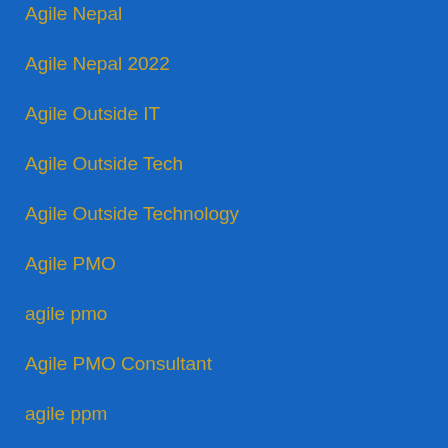Agile Nepal
Agile Nepal 2022
Agile Outside IT
Agile Outside Tech
Agile Outside Technology
Agile PMO
agile pmo
Agile PMO Consultant
agile ppm
Agile practitioners